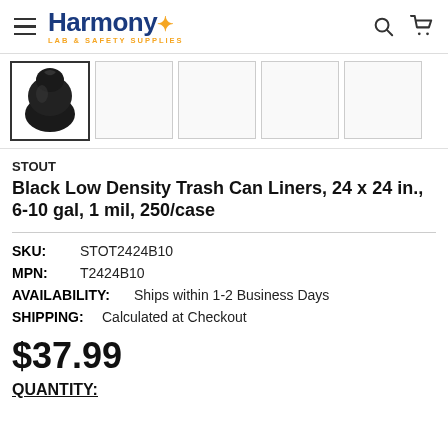Harmony Lab & Safety Supplies
[Figure (photo): Product thumbnail image of a black trash bag tied at the top, shown as the selected image in a horizontal thumbnail strip with 4 additional empty thumbnail slots]
STOUT
Black Low Density Trash Can Liners, 24 x 24 in., 6-10 gal, 1 mil, 250/case
SKU: STOT2424B10
MPN: T2424B10
AVAILABILITY: Ships within 1-2 Business Days
SHIPPING: Calculated at Checkout
$37.99
QUANTITY: